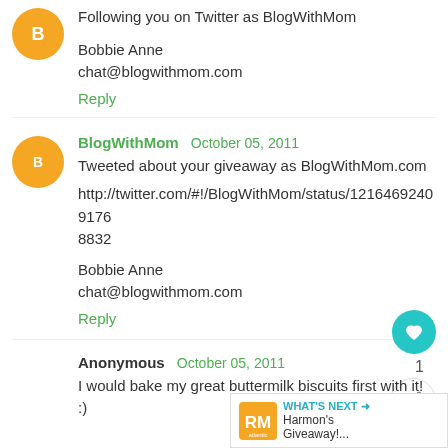Following you on Twitter as BlogWithMom

Bobbie Anne
chat@blogwithmom.com
Reply
BlogWithMom  October 05, 2011
Tweeted about your giveaway as BlogWithMom.com
http://twitter.com/#!/BlogWithMom/status/121646924091768832
Bobbie Anne
chat@blogwithmom.com
Reply
Anonymous  October 05, 2011
I would bake my great buttermilk biscuits first with it! :)